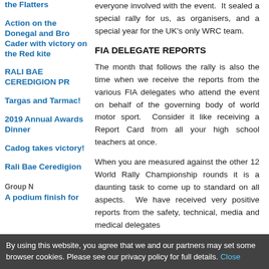the Flatters
Action on the Donegal and Bro Cader with victory on the Red kite
RALI BAE CEREDIGION PR
Targas and Tarmac!
2019 Annual Awards Dinner
Cadog takes victory!
Rali Bae Ceredigion
Group N
A podium finish for
everyone involved with the event. It sealed a special rally for us, as organisers, and a special year for the UK's only WRC team.
FIA DELEGATE REPORTS
The month that follows the rally is also the time when we receive the reports from the various FIA delegates who attend the event on behalf of the governing body of world motor sport. Consider it like receiving a Report Card from all your high school teachers at once.
When you are measured against the other 12 World Rally Championship rounds it is a daunting task to come up to standard on all aspects. We have received very positive reports from the safety, technical, media and medical delegates
By using this website, you agree that we and our partners may set some browser cookies. Please see our privacy policy for full details. Close